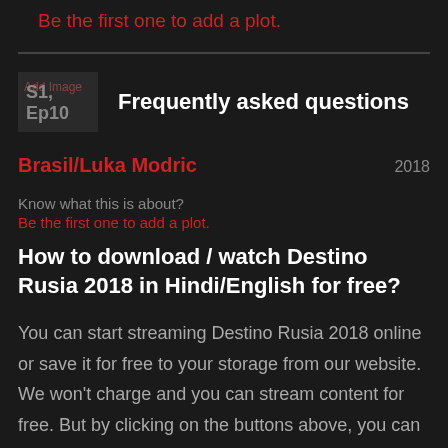Be the first one to add a plot.
[Figure (other): Add Image placeholder box showing S1, Ep10 label]
Frequently asked questions
Brasil/Luka Modric   2018
Know what this is about?
Be the first one to add a plot.
How to download / watch Destino Rusia 2018 in Hindi/English for free?
You can start streaming Destino Rusia 2018 online or save it for free to your storage from our website. We won't charge and you can stream content for free. But by clicking on the buttons above, you can choose